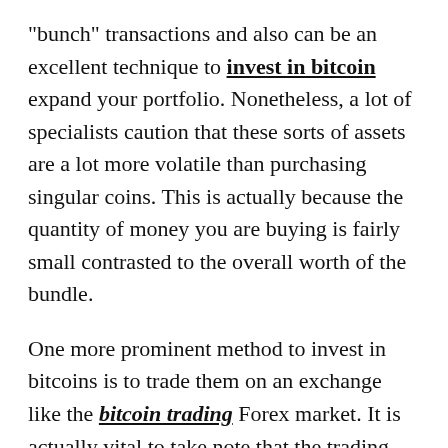"bunch" transactions and also can be an excellent technique to invest in bitcoin expand your portfolio. Nonetheless, a lot of specialists caution that these sorts of assets are a lot more volatile than purchasing singular coins. This is actually because the quantity of money you are buying is fairly small contrasted to the overall worth of the bundle.
One more prominent method to invest in bitcoins is to trade them on an exchange like the bitcoin trading Forex market. It is actually vital to take note that the trading platform of this kind of market is various